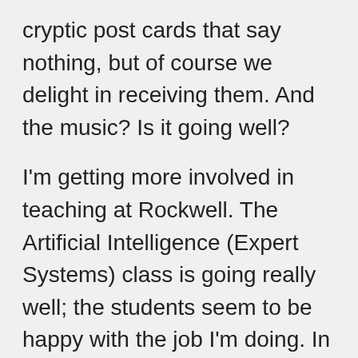cryptic post cards that say nothing, but of course we delight in receiving them. And the music? Is it going well?
I'm getting more involved in teaching at Rockwell. The Artificial Intelligence (Expert Systems) class is going really well; the students seem to be happy with the job I'm doing. In addition, on Monday I start teaching a lunch~time class at work. The class is a computer class (Beginning DOS) and runs for a month. I like the teaching that I've done so far; if this DOS class goes as well as I hope, I may consider getting into teaching more seriously.
Which leads nicely to the real thrust of this letter. . . . As I recall, I've mentioned that Spain